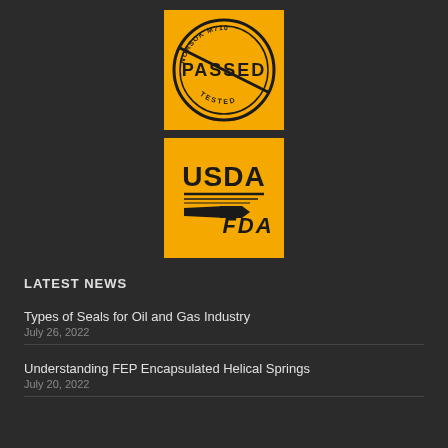[Figure (logo): NORSOK M710 Passed Tested badge on orange/amber background — circular stamp design with 'NORSOK M710' text around the top, 'PASSED' in large text across center, 'TESTED' along the bottom arc, with a diagonal line across the circle.]
[Figure (logo): USDA FDA combined logo on orange/amber background — 'USDA' in large bold text at top, three horizontal lines beneath, and 'FDA' in stylized text below.]
LATEST NEWS
Types of Seals for Oil and Gas Industry
July 26, 2022
Understanding FEP Encapsulated Helical Springs
July 20, 2022